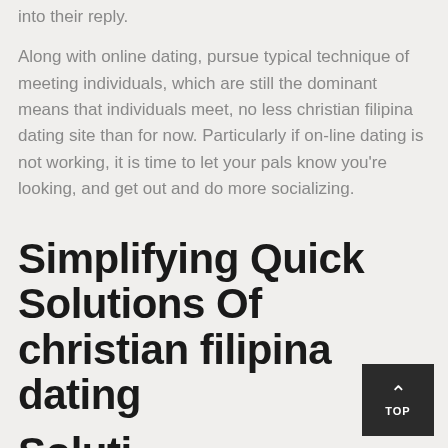into their reply. Along with online dating, pursue typical technique of meeting individuals, which are still the dominant means that individuals meet, no less christian filipina dating site than for now. Particularly if on-line dating is not working, it is time to let your pals know you're looking, and get out and do more socializing.
Simplifying Quick Solutions Of christian filipina dating
Solutions...